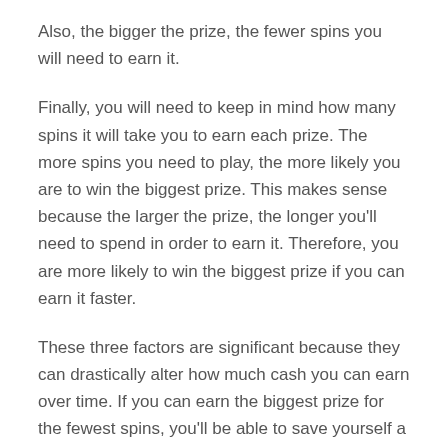Also, the bigger the prize, the fewer spins you will need to earn it.
Finally, you will need to keep in mind how many spins it will take you to earn each prize. The more spins you need to play, the more likely you are to win the biggest prize. This makes sense because the larger the prize, the longer you'll need to spend in order to earn it. Therefore, you are more likely to win the biggest prize if you can earn it faster.
These three factors are significant because they can drastically alter how much cash you can earn over time. If you can earn the biggest prize for the fewest spins, you'll be able to save yourself a lot more than if you had to spend a lot of time earning smaller prizes.
Conclusion
These are just a couple of examples of how to use the